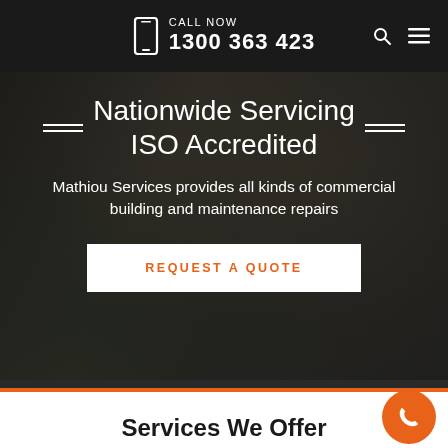CALL NOW 1300 363 423
Nationwide Servicing ISO Accredited
Mathiou Services provides all kinds of commercial building and maintenance repairs
REQUEST A QUOTE
[Figure (photo): Worker in uniform with safety glasses holding a ladder, dark blurred background]
Services We Offer